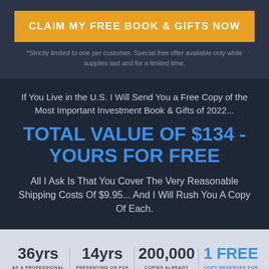CLAIM MY FREE BOOK & GIFTS NOW
*Strictly limited to one per customer. Special free offer available only while supplies last and for a limited time.
If You Live in the U.S. I Will Send You a Free Copy of the Most Important Investment Book & Gifts of 2022...
TOTAL VALUE OF $134 - YOURS FOR FREE
All I Ask Is That You Cover The Very Reasonable Shipping Costs Of $9.95... And I Will Rush You A Copy Of Each.
36yrs AS A PROFESSIONAL INVESTOR | 14yrs PRESENTING ON FOX BUSINESS | 200,000 COPIES ALREADY CLAIMED | 1 FREE COPY RESERVED FOR YOU